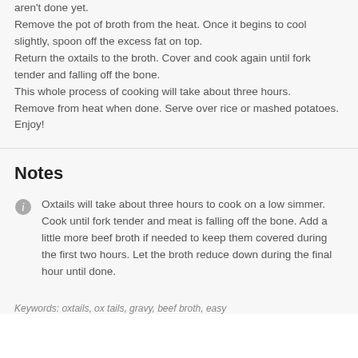aren't done yet.
Remove the pot of broth from the heat. Once it begins to cool slightly, spoon off the excess fat on top.
Return the oxtails to the broth. Cover and cook again until fork tender and falling off the bone.
This whole process of cooking will take about three hours.
Remove from heat when done. Serve over rice or mashed potatoes.
Enjoy!
Notes
Oxtails will take about three hours to cook on a low simmer. Cook until fork tender and meat is falling off the bone. Add a little more beef broth if needed to keep them covered during the first two hours. Let the broth reduce down during the final hour until done.
Keywords: oxtails, ox tails, gravy, beef broth, easy